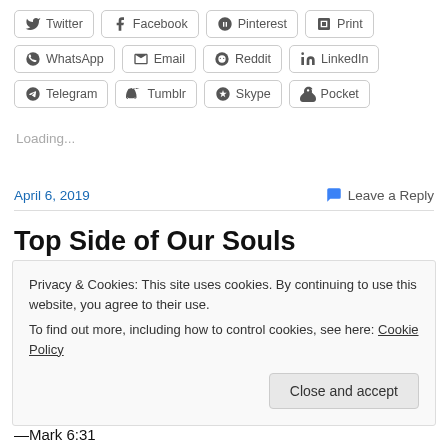[Figure (other): Social share buttons: Twitter, Facebook, Pinterest, Print, WhatsApp, Email, Reddit, LinkedIn, Telegram, Tumblr, Skype, Pocket]
Loading...
April 6, 2019
Leave a Reply
Top Side of Our Souls
Privacy & Cookies: This site uses cookies. By continuing to use this website, you agree to their use.
To find out more, including how to control cookies, see here: Cookie Policy
Close and accept
—Mark 6:31